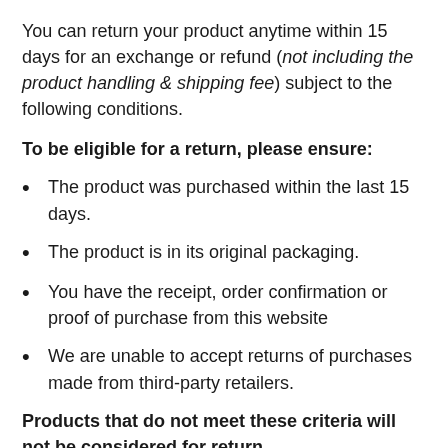You can return your product anytime within 15 days for an exchange or refund (not including the product handling & shipping fee) subject to the following conditions.
To be eligible for a return, please ensure:
The product was purchased within the last 15 days.
The product is in its original packaging.
You have the receipt, order confirmation or proof of purchase from this website
We are unable to accept returns of purchases made from third-party retailers.
Products that do not meet these criteria will not be considered for return.
R...